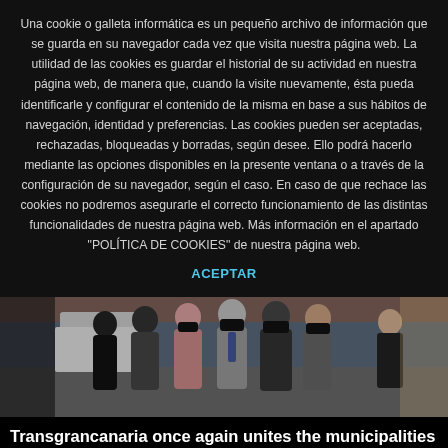Una cookie o galleta informática es un pequeño archivo de información que se guarda en su navegador cada vez que visita nuestra página web. La utilidad de las cookies es guardar el historial de su actividad en nuestra página web, de manera que, cuando la visite nuevamente, ésta pueda identificarle y configurar el contenido de la misma en base a sus hábitos de navegación, identidad y preferencias. Las cookies pueden ser aceptadas, rechazadas, bloqueadas y borradas, según desee. Ello podrá hacerlo mediante las opciones disponibles en la presente ventana o a través de la configuración de su navegador, según el caso. En caso de que rechace las cookies no podremos asegurarle el correcto funcionamiento de las distintas funcionalidades de nuestra página web. Más información en el apartado "POLÍTICA DE COOKIES" de nuestra página web.
ACEPTAR
[Figure (photo): Group of people wearing black face masks, standing outdoors in front of a brick wall. Several men in suits and casual attire visible.]
Transgrancanaria once again unites the municipalities of the infinite island on its twentieth anniversary
10 Feb. 2022